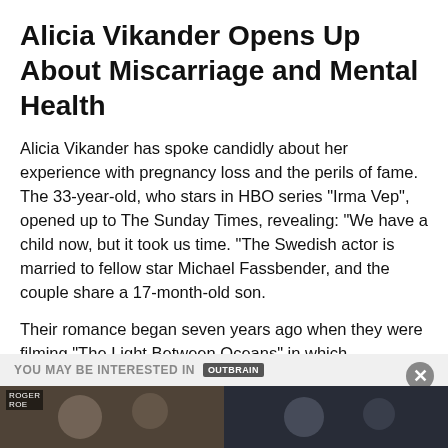Alicia Vikander Opens Up About Miscarriage and Mental Health
Alicia Vikander has spoke candidly about her experience with pregnancy loss and the perils of fame. The 33-year-old, who stars in HBO series "Irma Vep", opened up to The Sunday Times, revealing: "We have a child now, but it took us time. "The Swedish actor is married to fellow star Michael Fassbender, and the couple share a 17-month-old son.
Their romance began seven years ago when they were filming "The Light Between Oceans" in which Vikander's character suffers two miscarriages. She recalled the traumatising subject matter when she experienced this in her personal life. "[The miscarriage] was so extreme painful to go through and, of course, it made me…
YOU MAY BE INTERESTED IN
[Figure (screenshot): Two thumbnail images at the bottom of the page, partially visible, showing celebrity/entertainment content with a dark background overlay.]